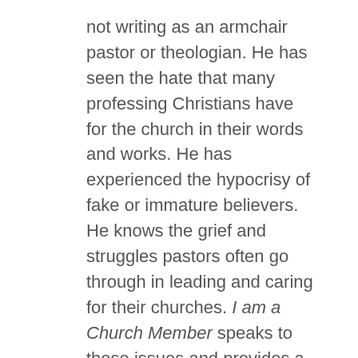not writing as an armchair pastor or theologian. He has seen the hate that many professing Christians have for the church in their words and works. He has experienced the hypocrisy of fake or immature believers. He knows the grief and struggles pastors often go through in leading and caring for their churches. I am a Church Member speaks to these issues and provides a useful handbook with Biblically practical wisdom that even a 10 year old can understand.
Rainer acknowledges "...many of us church members have lost the biblical understanding of what it means to be a part of the body of Christ." The picture is painted of a country club with perks and pleasures as part of its 'membership'. Often church